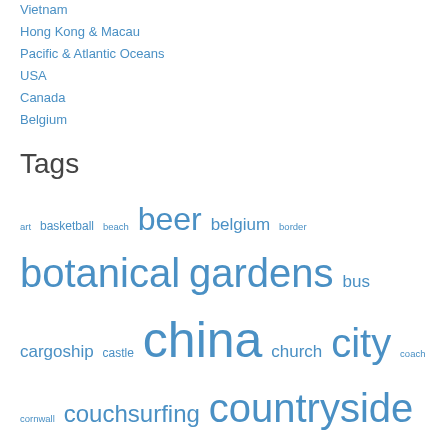Vietnam
Hong Kong & Macau
Pacific & Atlantic Oceans
USA
Canada
Belgium
Tags
art basketball beach beer belgium border botanical gardens bus cargoship castle china church city coach cornwall couchsurfing countryside ferry food hill hostel japan journey lake lessons learnt medicine memorial metro mountain museum night palace river